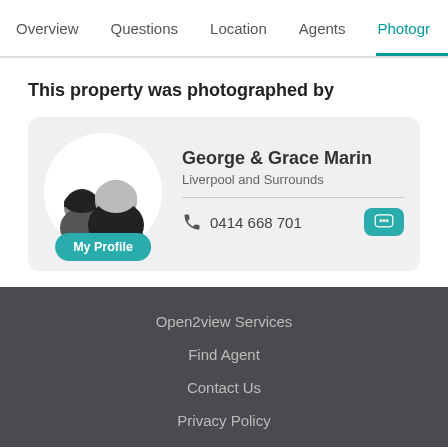Overview   Questions   Location   Agents   Photogr
This property was photographed by
[Figure (photo): Agent profile card showing George & Grace Marin with a profile photo of a man and woman, a teal 'My Profile' button, phone number 0414 668 701, and a teal chat bubble icon. Location: Liverpool and Surrounds.]
Open2view Services
Find Agent
Contact Us
Privacy Policy